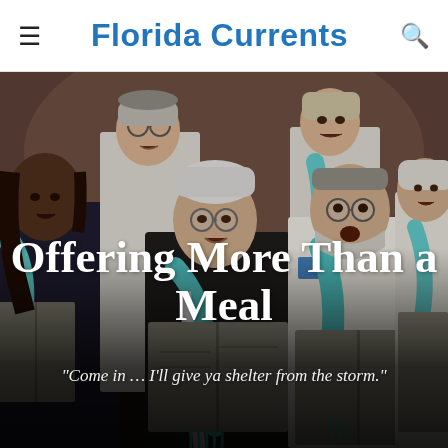Florida Currents
[Figure (photo): A choir of adults wearing white robes and teal/turquoise scarves, singing from sheet music books. The group includes people of various ages and ethnicities performing together in a formal setting with a brown/warm-toned background.]
Offering More Than a Meal
“Come in … I’ll give ya shelter from the storm.”